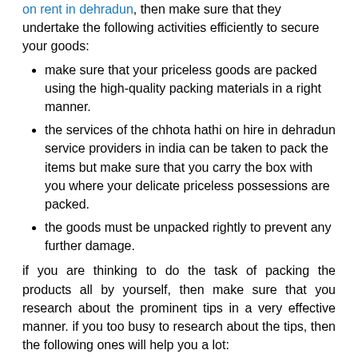on rent in dehradun, then make sure that they undertake the following activities efficiently to secure your goods:
make sure that your priceless goods are packed using the high-quality packing materials in a right manner.
the services of the chhota hathi on hire in dehradun service providers in india can be taken to pack the items but make sure that you carry the box with you where your delicate priceless possessions are packed.
the goods must be unpacked rightly to prevent any further damage.
if you are thinking to do the task of packing the products all by yourself, then make sure that you research about the prominent tips in a very effective manner. if you too busy to research about the tips, then the following ones will help you a lot:
Make Use Of The Packing Materials You Have In Your House
most of the people have the habit of storing their valuable items in the delicate moving boxes. it is no doubt one of the best things to do when shifting the items. for instance, if there